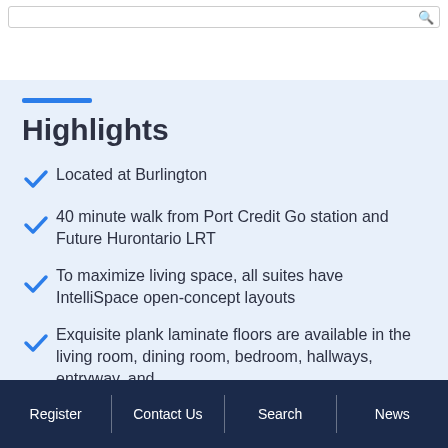Highlights
Located at Burlington
40 minute walk from Port Credit Go station and Future Hurontario LRT
To maximize living space, all suites have IntelliSpace open-concept layouts
Exquisite plank laminate floors are available in the living room, dining room, bedroom, hallways, entryway, and
Register | Contact Us | Search | News